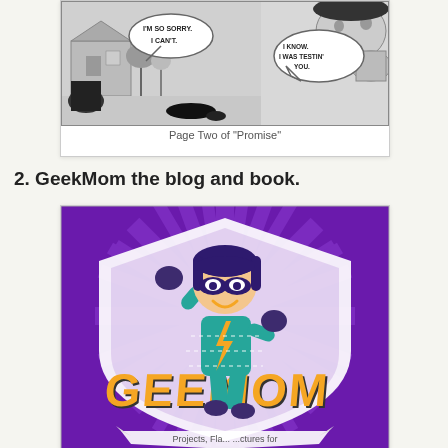[Figure (illustration): Black and white comic strip panel showing two characters with speech bubbles reading 'I'M SO SORRY. I CAN'T.' and 'I KNOW. I WAS TESTIN' YOU.']
Page Two of "Promise"
2. GeekMom the blog and book.
[Figure (illustration): GeekMom logo/book cover with purple shield background featuring sunburst rays, a cartoon girl superhero character wearing a mask and teal outfit, and bold orange text reading 'GEEK MOM' with text at the bottom reading 'Projects, Adventures for']